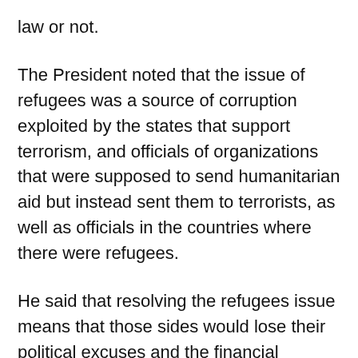law or not.
The President noted that the issue of refugees was a source of corruption exploited by the states that support terrorism, and officials of organizations that were supposed to send humanitarian aid but instead sent them to terrorists, as well as officials in the countries where there were refugees.
He said that resolving the refugees issue means that those sides would lose their political excuses and the financial benefits, which is why they are clinging to this issue, and this is why European and American officials make audacious statements openly opposing the return of refugees under silly and